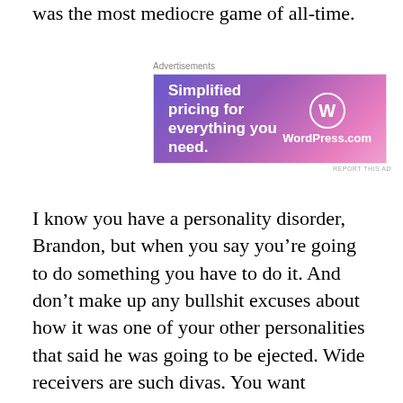was the most mediocre game of all-time.
[Figure (other): WordPress.com advertisement banner with gradient purple/pink background. Text reads 'Simplified pricing for everything you need.' with WordPress.com logo.]
I know you have a personality disorder, Brandon, but when you say you’re going to do something you have to do it. And don’t make up any bullshit excuses about how it was one of your other personalities that said he was going to be ejected. Wide receivers are such divas. You want attention? Go out and catch touchdowns. It worked for Jerry Rice. Then, T.O. and Chad Ochocinco came along and guaranteed that every week their TD celebrations were going to be the craziest things we’ve ever seen. Three catches for 28 yards later, and the MKS wasted three hours of his life. If you say you’re going to do something, do it. If not, shut the fuck up. Talk is chea